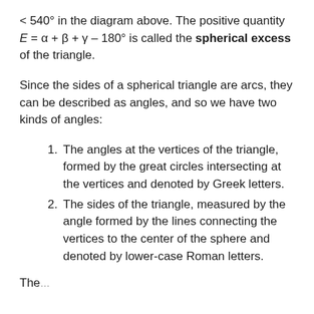< 540° in the diagram above. The positive quantity E = α + β + γ – 180° is called the spherical excess of the triangle.
Since the sides of a spherical triangle are arcs, they can be described as angles, and so we have two kinds of angles:
The angles at the vertices of the triangle, formed by the great circles intersecting at the vertices and denoted by Greek letters.
The sides of the triangle, measured by the angle formed by the lines connecting the vertices to the center of the sphere and denoted by lower-case Roman letters.
The…